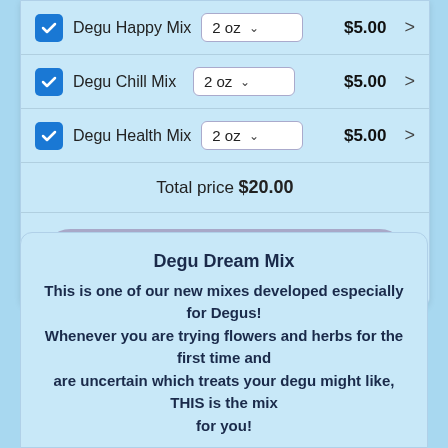|  | Product | Size | Price |  |
| --- | --- | --- | --- | --- |
| ✓ | Degu Happy Mix | 2 oz | $5.00 | > |
| ✓ | Degu Chill Mix | 2 oz | $5.00 | > |
| ✓ | Degu Health Mix | 2 oz | $5.00 | > |
Total price $20.00
ADD TO CART
Degu Dream Mix
This is one of our new mixes developed especially for Degus! Whenever you are trying flowers and herbs for the first time and are uncertain which treats your degu might like, THIS is the mix for you!